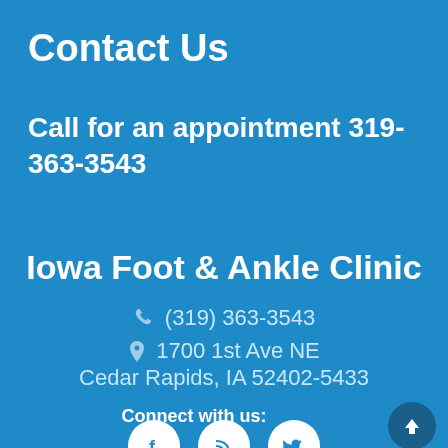Contact Us
Call for an appointment  319-363-3543
Iowa Foot & Ankle Clinic
☎ (319) 363-3543
📍 1700 1st Ave NE
Cedar Rapids, IA 52402-5433
Connect with us:
[Figure (illustration): Social media icons: Facebook, RSS/Blog, Twitter in white circles on blue background. Also a scroll-to-top button with upward arrow.]